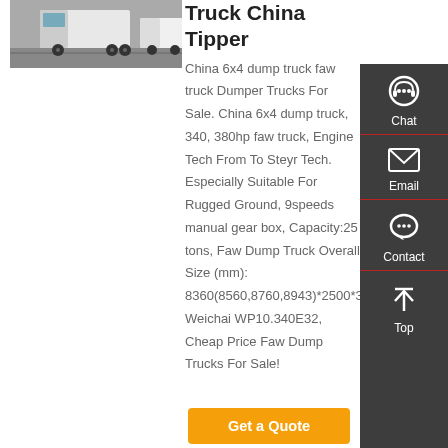[Figure (photo): Photo of white dump trucks on a road, viewed from front-right angle]
Truck China Tipper
China 6x4 dump truck faw truck Dumper Trucks For Sale. China 6x4 dump truck, 340, 380hp faw truck, Engine Tech From To Steyr Tech. Especially Suitable For Rugged Ground, 9speeds manual gear box, Capacity:25 tons, Faw Dump Truck Overall Size (mm): 8360(8560,8760,8943)*2500*3280, Weichai WP10.340E32, Cheap Price Faw Dump Trucks For Sale!
[Figure (infographic): Sidebar with Chat, Email, Contact, and Top navigation icons on dark background]
Get a Quote